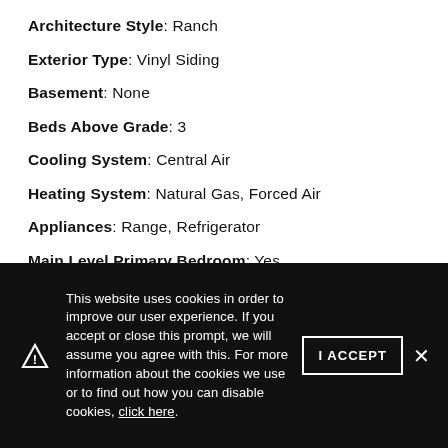Architecture Style: Ranch
Exterior Type: Vinyl Siding
Basement: None
Beds Above Grade: 3
Cooling System: Central Air
Heating System: Natural Gas, Forced Air
Appliances: Range, Refrigerator
Main Level Primary Bedroom: Yes
Pool: No
Age: 61-70 Years
Parking Type: Garage
This website uses cookies in order to improve our user experience. If you accept or close this prompt, we will assume you agree with this. For more information about the cookies we use or to find out how you can disable cookies, click here.